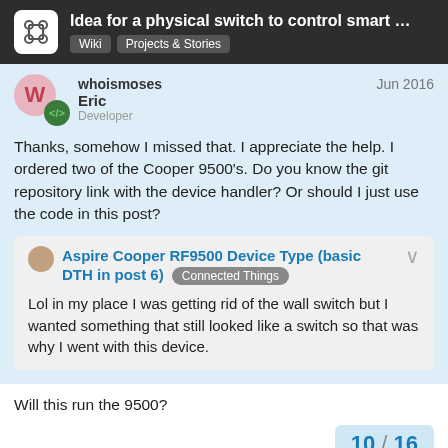Idea for a physical switch to control smart … | Wiki | Projects & Stories
whoismoses Eric Developer Jun 2016
Thanks, somehow I missed that. I appreciate the help. I ordered two of the Cooper 9500's. Do you know the git repository link with the device handler? Or should I just use the code in this post?
Aspire Cooper RF9500 Device Type (basic DTH in post 6) Connected Things
Lol in my place I was getting rid of the wall switch but I wanted something that still looked like a switch so that was why I went with this device.
Will this run the 9500?
10 / 16